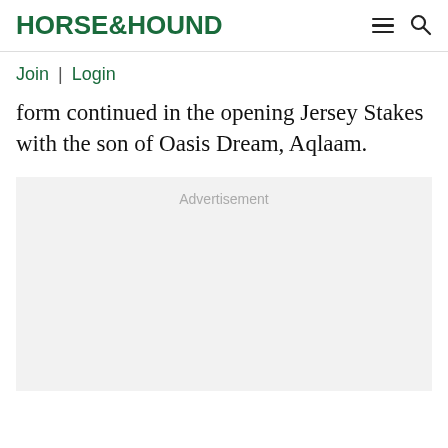HORSE&HOUND
Join | Login
form continued in the opening Jersey Stakes with the son of Oasis Dream, Aqlaam.
[Figure (other): Advertisement placeholder box with light grey background and 'Advertisement' label text centered at top.]